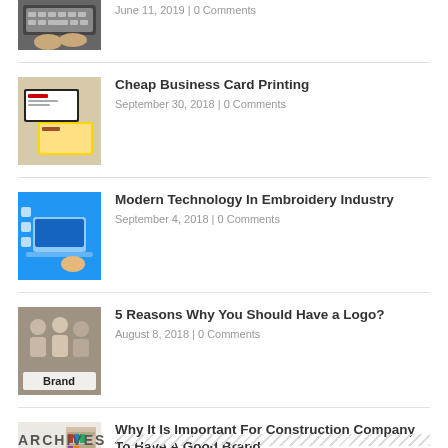[Figure (photo): Hands typing on a laptop keyboard]
June 11, 2019 | 0 Comments
[Figure (photo): Business cards printing product image]
Cheap Business Card Printing
September 30, 2018 | 0 Comments
[Figure (photo): Modern technology in embroidery – laptop with icons on blue background]
Modern Technology In Embroidery Industry
September 4, 2018 | 0 Comments
[Figure (photo): Group of people with brand sign on the ground]
5 Reasons Why You Should Have a Logo?
August 8, 2018 | 0 Comments
[Figure (photo): Modern office interior for construction company]
Why It Is Important For Construction Company To Have A Good Brand
July 27, 2018 | 0 Comments
ARCHIVES